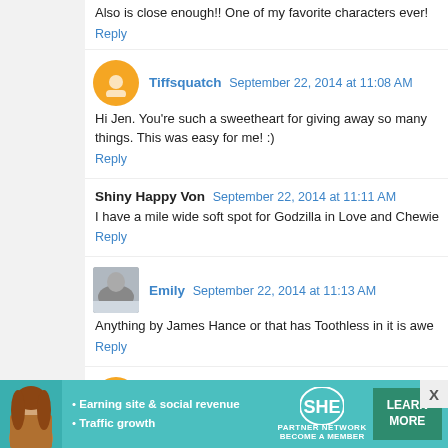Also is close enough!! One of my favorite characters ever!
Reply
Tiffsquatch  September 22, 2014 at 11:08 AM
Hi Jen. You're such a sweetheart for giving away so many things. This was easy for me! :)
Reply
Shiny Happy Von  September 22, 2014 at 11:11 AM
I have a mile wide soft spot for Godzilla in Love and Chewie
Reply
Emily  September 22, 2014 at 11:13 AM
Anything by James Hance or that has Toothless in it is awe
Reply
Amanda  September 22, 2014 at 11:13 AM
[Figure (infographic): SHE Partner Network advertisement with woman photo, bullet points about earning site and social revenue and traffic growth, SHE logo, and Learn More button]